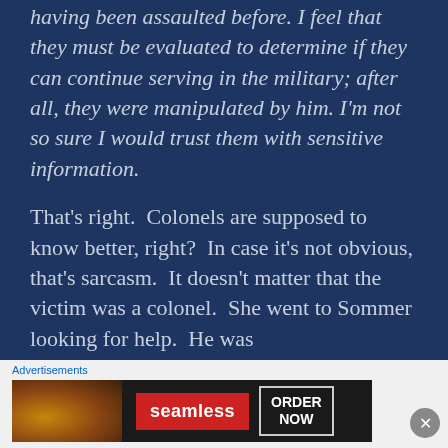having been assaulted before. I feel that they must be evaluated to determine if they can continue serving in the military; after all, they were manipulated by him. I'm not so sure I would trust them with sensitive information.
That's right.  Colonels are supposed to know better, right?  In case it's not obvious, that's sarcasm.  It doesn't matter that the victim was a colonel.  She went to Sommer looking for help.  He was
Advertisements